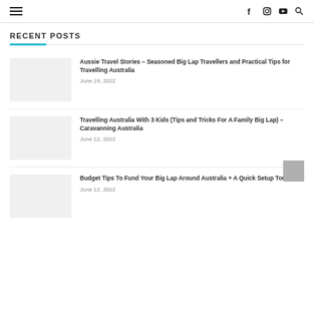Navigation bar with hamburger menu and social icons (f, Instagram, YouTube, search)
RECENT POSTS
Aussie Travel Stories – Seasoned Big Lap Travellers and Practical Tips for Travelling Australia
June 19, 2022
Travelling Australia With 3 Kids (Tips and Tricks For A Family Big Lap) – Caravanning Australia
June 12, 2022
Budget Tips To Fund Your Big Lap Around Australia + A Quick Setup Tour
June 12, 2022